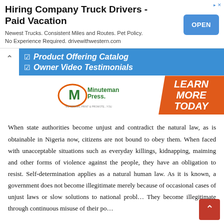[Figure (other): Advertisement banner: 'Hiring Company Truck Drivers - Paid Vacation' with blue OPEN button. Text: Newest Trucks. Consistent Miles and Routes. Pet Policy. No Experience Required. drivewithwestern.com]
[Figure (other): Minuteman Press advertisement with blue top section listing 'Product Offering Catalog' and 'Owner Video Testimonials', logo on white, and orange 'LEARN MORE TODAY' section on right.]
When state authorities become unjust and contradict the natural law, as is obtainable in Nigeria now, citizens are not bound to obey them. When faced with unacceptable situations such as everyday killings, kidnapping, maiming and other forms of violence against the people, they have an obligation to resist. Self-determination applies as a natural human law. As it is known, a government does not become illegitimate merely because of occasional cases of unjust laws or slow solutions to national probl… They become illegitimate through continuous misuse of their po…